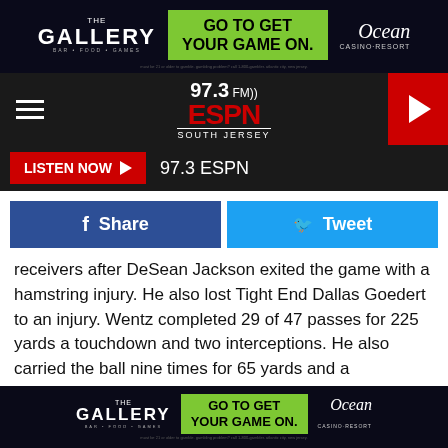[Figure (screenshot): The Gallery / Ocean Casino Resort advertisement banner - dark background with green GO TO GET YOUR GAME ON text]
[Figure (logo): 97.3 ESPN South Jersey radio station logo in navigation bar]
LISTEN NOW ▶  97.3 ESPN
[Figure (infographic): Facebook Share and Twitter Tweet social sharing buttons]
receivers after DeSean Jackson exited the game with a hamstring injury. He also lost Tight End Dallas Goedert to an injury. Wentz completed 29 of 47 passes for 225 yards a touchdown and two interceptions. He also carried the ball nine times for 65 yards and a touchdown.
Offensive Line - The offensive line was up and down in this game. Jason Peters got beat multiple times on the edge, Matt Pryor committed a costly penalty on special teams and they allowed Wentz to get sacked three times. That sack
[Figure (screenshot): The Gallery / Ocean Casino Resort advertisement banner at bottom]